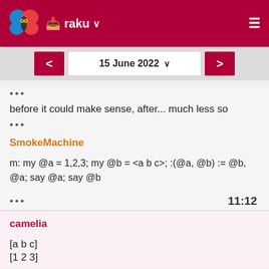raku
15 June 2022
•••
before it could make sense, after... much less so
•••
SmokeMachine
m: my @a = 1,2,3; my @b = <a b c>; :(@a, @b) := @b, @a; say @a; say @b
••• 11:12
camelia
[a b c]
[1 2 3]